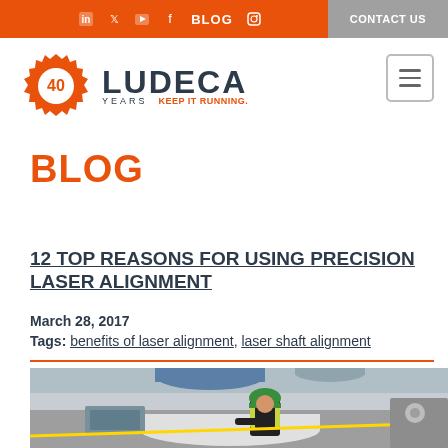in | twitter | youtube | f | BLOG | instagram | CONTACT US
[Figure (logo): LUDECA 40 Years - Keep it running. company logo with orange gear/badge icon]
BLOG
12 TOP REASONS FOR USING PRECISION LASER ALIGNMENT
March 28, 2017
Tags: benefits of laser alignment, laser shaft alignment
[Figure (photo): Industrial worker wearing green hard hat and high-visibility vest performing laser alignment on large machinery in an industrial facility]